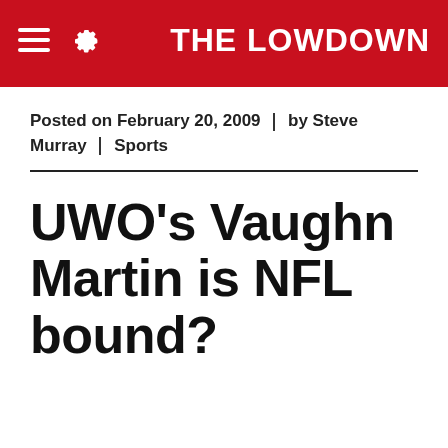THE LOWDOWN
Posted on February 20, 2009 | by Steve Murray | Sports
UWO’s Vaughn Martin is NFL bound?